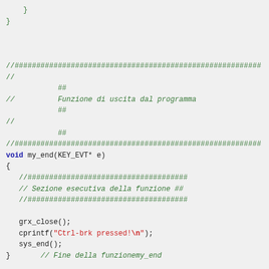Code snippet showing C function my_end with comments in Italian. Includes closing braces, comment block with Funzione di uscita dal programma, function definition, and body with grx_close(), cprintf, sys_end().